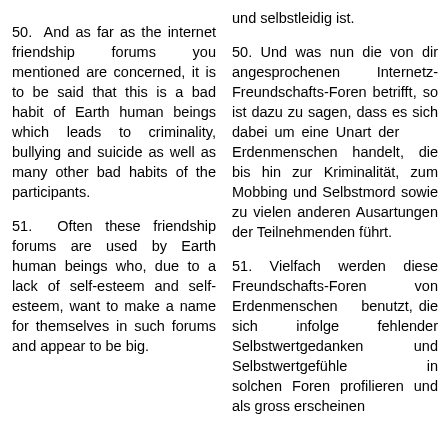und selbstleidig ist.
50. And as far as the internet friendship forums you mentioned are concerned, it is to be said that this is a bad habit of Earth human beings which leads to criminality, bullying and suicide as well as many other bad habits of the participants.
50. Und was nun die von dir angesprochenen Internetz-Freundschafts-Foren betrifft, so ist dazu zu sagen, dass es sich dabei um eine Unart der Erdenmenschen handelt, die bis hin zur Kriminalität, zum Mobbing und Selbstmord sowie zu vielen anderen Ausartungen der Teilnehmenden führt.
51. Often these friendship forums are used by Earth human beings who, due to a lack of self-esteem and self-esteem, want to make a name for themselves in such forums and appear to be big.
51. Vielfach werden diese Freundschafts-Foren von Erdenmenschen benutzt, die sich infolge fehlender Selbstwertgedanken und Selbstwertgefühle in solchen Foren profilieren und als gross erscheinen